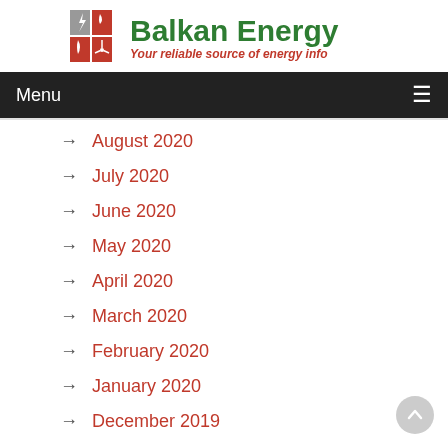[Figure (logo): Balkan Energy logo with red icon grid and green text 'Balkan Energy' and red italic tagline 'Your reliable source of energy info']
Menu
August 2020
July 2020
June 2020
May 2020
April 2020
March 2020
February 2020
January 2020
December 2019
November 2019